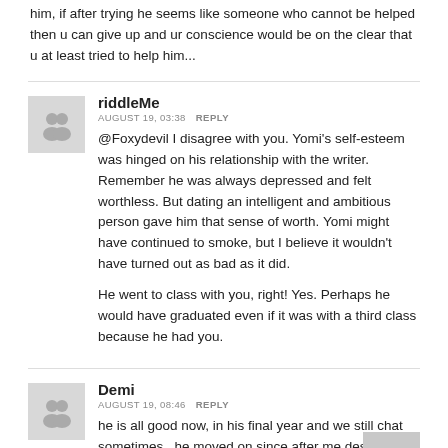him, if after trying he seems like someone who cannot be helped then u can give up and ur conscience would be on the clear that u at least tried to help him...
riddleMe
AUGUST 19, 03:38  REPLY
@Foxydevil I disagree with you. Yomi's self-esteem was hinged on his relationship with the writer. Remember he was always depressed and felt worthless. But dating an intelligent and ambitious person gave him that sense of worth. Yomi might have continued to smoke, but I believe it wouldn't have turned out as bad as it did.

He went to class with you, right! Yes. Perhaps he would have graduated even if it was with a third class because he had you.
Demi
AUGUST 19, 08:46  REPLY
he is all good now, in his final year and we still chat sometimes.. he moved on since after me despite all and the last we saw he had a gf...